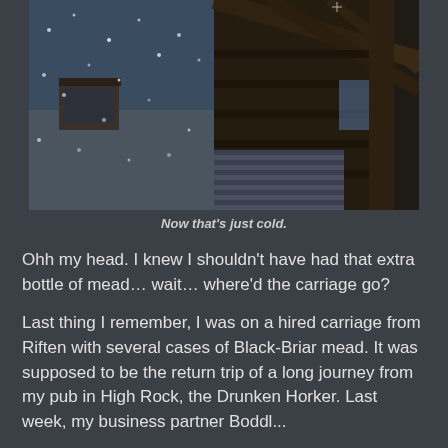[Figure (screenshot): A dark, snowy in-game screenshot from a video game (likely Skyrim), showing a wooden structure/carriage shelter with snow falling outside. The scene is cold and wintry.]
Now that's just cold.
Ohh my head.  I knew I shouldn't have had that extra bottle of mead… wait… where'd the carriage go?
Last thing I remember, I was on a hired carriage from Riften with several cases of Black-Briar mead.   It was supposed to be the return trip of a long journey from my pub in High Rock, the Drunken Horker.  Last week, my business partner Boddl...